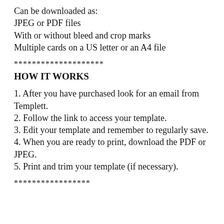Can be downloaded as:
JPEG or PDF files
With or without bleed and crop marks
Multiple cards on a US letter or an A4 file
********************
HOW IT WORKS
1. After you have purchased look for an email from Templett.
2. Follow the link to access your template.
3. Edit your template and remember to regularly save.
4. When you are ready to print, download the PDF or JPEG.
5. Print and trim your template (if necessary).
*****************